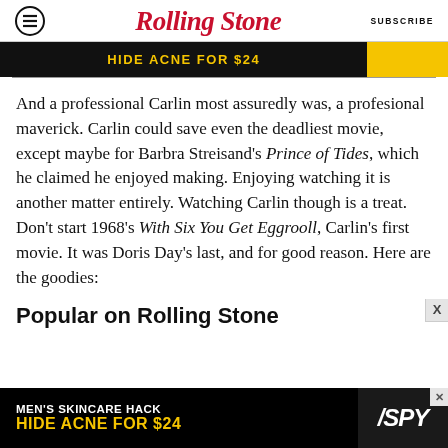Rolling Stone | SUBSCRIBE
[Figure (screenshot): Advertisement banner at top: dark background with yellow text 'HIDE ACNE FOR $24']
And a professional Carlin most assuredly was, a profesional maverick. Carlin could save even the deadliest movie, except maybe for Barbra Streisand's Prince of Tides, which he claimed he enjoyed making. Enjoying watching it is another matter entirely. Watching Carlin though is a treat. Don't start 1968's With Six You Get Eggrooll, Carlin's first movie. It was Doris Day's last, and for good reason. Here are the goodies:
Popular on Rolling Stone
[Figure (screenshot): Advertisement banner at bottom: black background, white text 'MEN'S SKINCARE HACK', yellow text 'HIDE ACNE FOR $24', SPY logo on right]